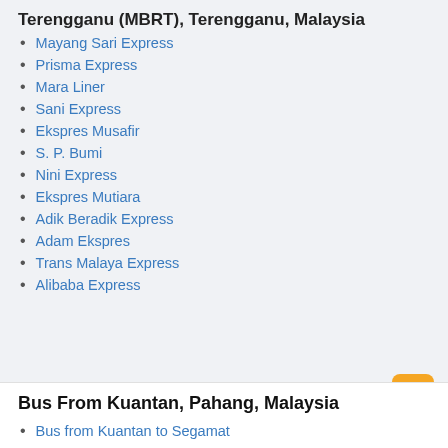Terengganu (MBRT), Terengganu, Malaysia
Mayang Sari Express
Prisma Express
Mara Liner
Sani Express
Ekspres Musafir
S. P. Bumi
Nini Express
Ekspres Mutiara
Adik Beradik Express
Adam Ekspres
Trans Malaya Express
Alibaba Express
Bus From Kuantan, Pahang, Malaysia
Bus from Kuantan to Segamat